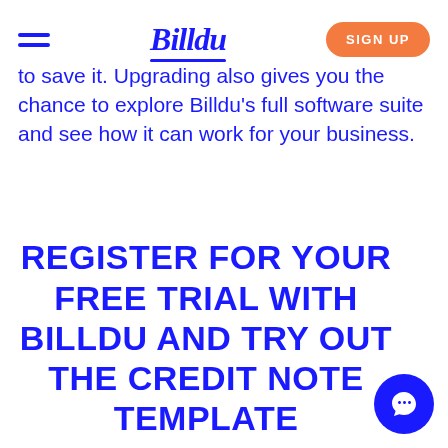Billdu | SIGN UP
to save it. Upgrading also gives you the chance to explore Billdu's full software suite and see how it can work for your business.
REGISTER FOR YOUR FREE TRIAL WITH BILLDU AND TRY OUT THE CREDIT NOTE TEMPLATE